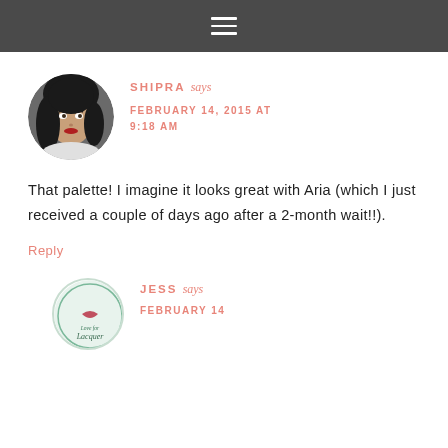≡
[Figure (photo): Round avatar photo of Shipra, a woman with dark hair and red lipstick]
SHIPRA says
FEBRUARY 14, 2015 AT 9:18 AM
That palette! I imagine it looks great with Aria (which I just received a couple of days ago after a 2-month wait!!).
Reply
[Figure (logo): Round logo for Love for Lacquer blog with a lip/kiss mark graphic]
JESS says
FEBRUARY 14